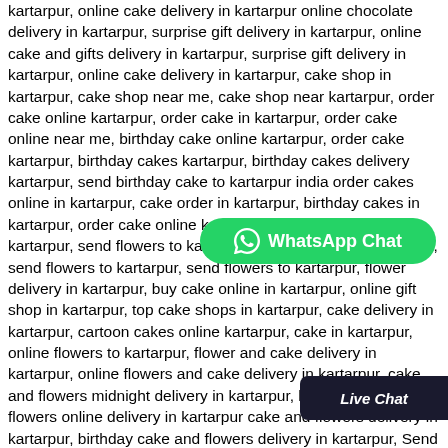kartarpur, online cake delivery in kartarpur online chocolate delivery in kartarpur, surprise gift delivery in kartarpur, online cake and gifts delivery in kartarpur, surprise gift delivery in kartarpur, online cake delivery in kartarpur, cake shop in kartarpur, cake shop near me, cake shop near kartarpur, order cake online kartarpur, order cake in kartarpur, order cake online near me, birthday cake online kartarpur, order cake kartarpur, birthday cakes kartarpur, birthday cakes delivery kartarpur, send birthday cake to kartarpur india order cakes online in kartarpur, cake order in kartarpur, birthday cakes in kartarpur, order cake online kartarpur, birthday cake online kartarpur, send flowers to kartarpur, flowers native to kartarpur, send flowers to kartarpur, send flowers to kartarpur, flower delivery in kartarpur, buy cake online in kartarpur, online gift shop in kartarpur, top cake shops in kartarpur, cake delivery in kartarpur, cartoon cakes online kartarpur, cake in kartarpur, online flowers to kartarpur, flower and cake delivery in kartarpur, online flowers and cake delivery in kartarpur, cake and flowers midnight delivery in kartarpur, birthday cake and flowers online delivery in kartarpur cake and flowers delivery in kartarpur, birthday cake and flowers delivery in kartarpur, Send Combo Gifts Online in kartarpur, Buy Birthday Combos Online in kartarpur, Send Flower Combo Gifts in kartarpur, deliver cake and flowers in kartarpur, send gifts to kartarpur, send gifts in kartarpur, flowers to kartarpur, flowers in kartarpur, send
[Figure (other): WhatsApp Chat button - green rounded pill button with WhatsApp icon and text 'WhatsApp Chat']
[Figure (other): Live Chat button - dark rounded rectangle button with italic text 'Live Chat']